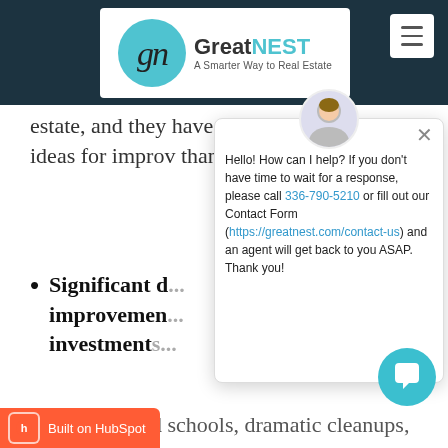GreatNEST - A Smarter Way to Real Estate
estate, and they have tons of energy and ideas for improv... than-ideal prope...
Significant d... improvement... investments...
New parks and schools, dramatic cleanups, museums, and other civic investment...
...w populations and encourage...
[Figure (screenshot): Chat popup overlay with avatar, close button, and message: Hello! How can I help? If you don't have time to wait for a response, please call 336-790-5210 or fill out our Contact Form (https://greatnest.com/contact-us) and an agent will get back to you ASAP. Thank you!]
[Figure (other): Teal chat bubble button at bottom right]
[Figure (logo): HubSpot badge at bottom left - Built on HubSpot]